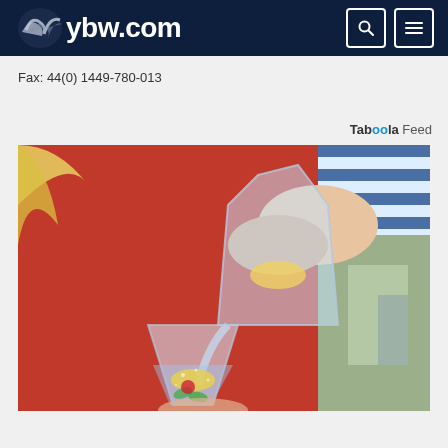ybw.com
Fax: 44(0) 1449-780-013
Taboola Feed
[Figure (photo): Person in red sweater and striped shirt pouring water with lemon slices from a glass pitcher into a tall glass, outdoors setting.]